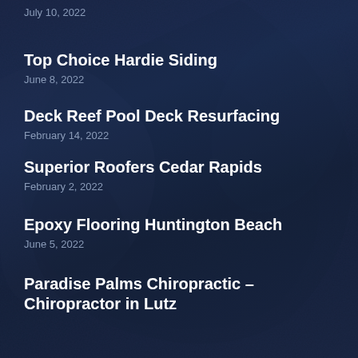July 10, 2022
Top Choice Hardie Siding
June 8, 2022
Deck Reef Pool Deck Resurfacing
February 14, 2022
Superior Roofers Cedar Rapids
February 2, 2022
Epoxy Flooring Huntington Beach
June 5, 2022
Paradise Palms Chiropractic – Chiropractor in Lutz
March 12, 2022